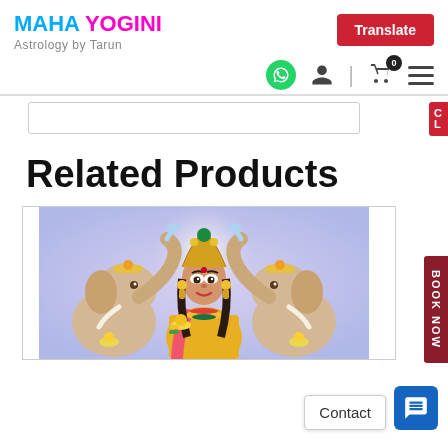MAHA YOGINI Astrology by Tarun
Translate
Related Products
[Figure (illustration): Hindu goddess illustration showing a woman adorned with gold jewelry and crown, flanked by two elephants pouring water, holding a lotus flower, set against a light purple background]
Contact
BOOK NOW